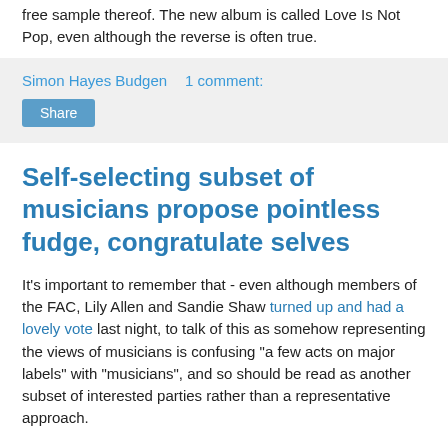free sample thereof. The new album is called Love Is Not Pop, even although the reverse is often true.
Simon Hayes Budgen   1 comment:
Share
Self-selecting subset of musicians propose pointless fudge, congratulate selves
It's important to remember that - even although members of the FAC, Lily Allen and Sandie Shaw turned up and had a lovely vote last night, to talk of this as somehow representing the views of musicians is confusing "a few acts on major labels" with "musicians", and so should be read as another subset of interested parties rather than a representative approach.
But what did they decide last night?